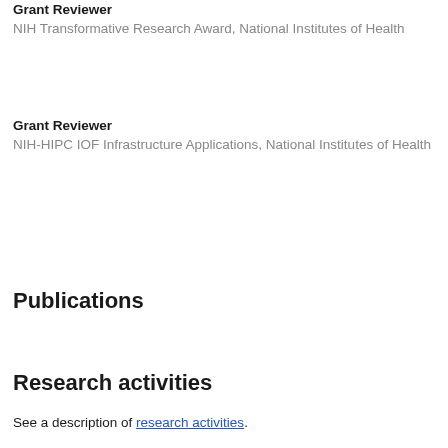Grant Reviewer
NIH Transformative Research Award, National Institutes of Health
Grant Reviewer
NIH-HIPC IOF Infrastructure Applications, National Institutes of Health
Show more professional memberships
Publications
See my publications
Research activities
See a description of research activities.